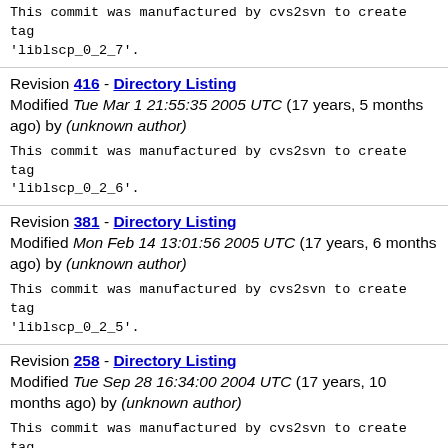This commit was manufactured by cvs2svn to create tag 'liblscp_0_2_7'.
Revision 416 - Directory Listing
Modified Tue Mar 1 21:55:35 2005 UTC (17 years, 5 months ago) by (unknown author)
This commit was manufactured by cvs2svn to create tag 'liblscp_0_2_6'.
Revision 381 - Directory Listing
Modified Mon Feb 14 13:01:56 2005 UTC (17 years, 6 months ago) by (unknown author)
This commit was manufactured by cvs2svn to create tag 'liblscp_0_2_5'.
Revision 258 - Directory Listing
Modified Tue Sep 28 16:34:00 2004 UTC (17 years, 10 months ago) by (unknown author)
This commit was manufactured by cvs2svn to create tag 'liblscp_0_2_3'.
Revision 195 - Directory Listing
Modified Fri Jul 9 14:35:28 2004 UTC (18 years, 1 month